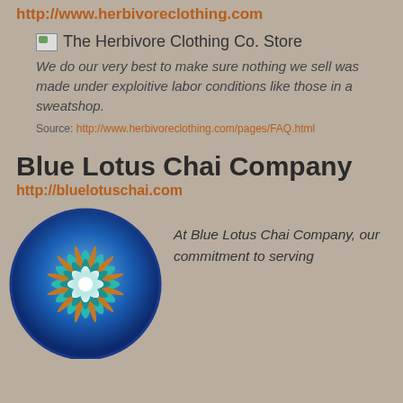http://www.herbivoreclothing.com
[Figure (screenshot): Broken image placeholder labeled 'The Herbivore Clothing Co. Store']
We do our very best to make sure nothing we sell was made under exploitive labor conditions like those in a sweatshop.
Source: http://www.herbivoreclothing.com/pages/FAQ.html
Blue Lotus Chai Company
http://bluelotuschai.com
[Figure (logo): Blue Lotus Chai Company circular logo with a teal mandala/lotus flower on a blue circular background]
At Blue Lotus Chai Company, our commitment to serving